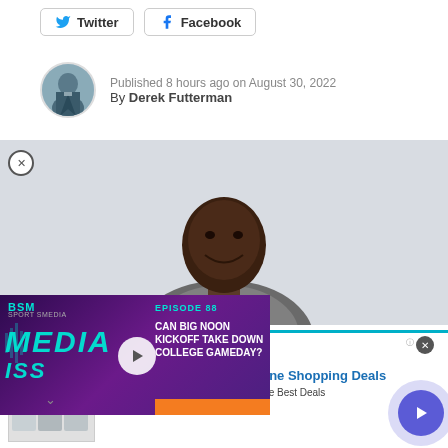[Figure (other): Twitter and Facebook social share buttons]
Published 8 hours ago on August 30, 2022
By Derek Futterman
[Figure (photo): Portrait photo of a smiling man in a suit jacket against a light background]
[Figure (other): BSM Media podcast overlay with episode title: CAN BIG NOON KICKOFF TAKE DOWN COLLEGE GAMEDAY? Episode 88, with play button]
[Figure (other): Groupon advertisement banner: Groupon Official Site | Online Shopping Deals. Discover & Save with Over 300k of the Best Deals. www.groupon.com]